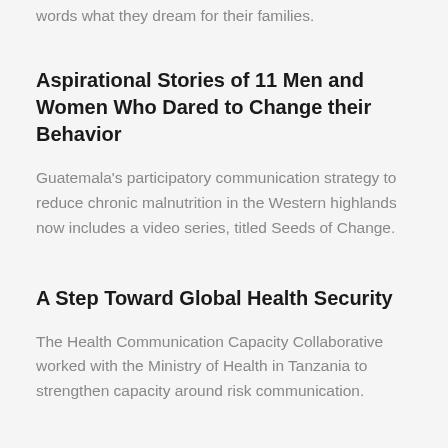words what they dream for their families.
Aspirational Stories of 11 Men and Women Who Dared to Change their Behavior
Guatemala's participatory communication strategy to reduce chronic malnutrition in the Western highlands now includes a video series, titled Seeds of Change.
A Step Toward Global Health Security
The Health Communication Capacity Collaborative worked with the Ministry of Health in Tanzania to strengthen capacity around risk communication.